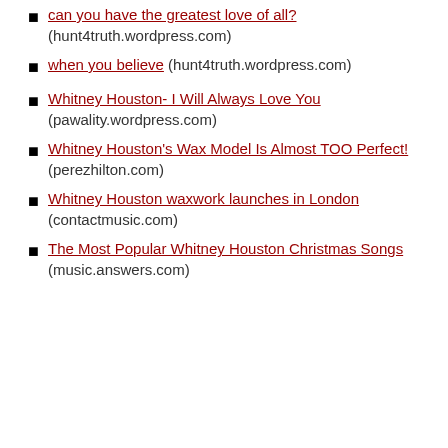can you have the greatest love of all? (hunt4truth.wordpress.com)
when you believe (hunt4truth.wordpress.com)
Whitney Houston- I Will Always Love You (pawality.wordpress.com)
Whitney Houston's Wax Model Is Almost TOO Perfect! (perezhilton.com)
Whitney Houston waxwork launches in London (contactmusic.com)
The Most Popular Whitney Houston Christmas Songs (music.answers.com)
Privacy & Cookies: This site uses cookies. By continuing to use this website, you agree to their use. To find out more, including how to control cookies, see here: Cookie Policy
Close and accept